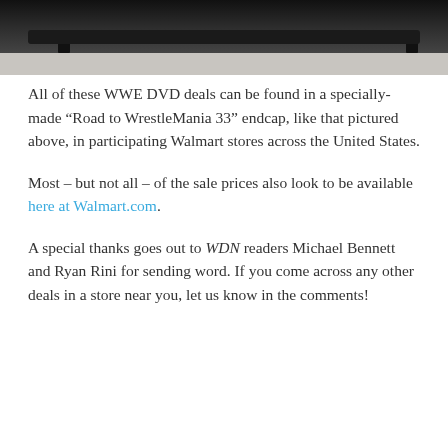[Figure (photo): Bottom portion of a WWE DVD display endcap (dark metal rack with legs) sitting on a light-colored tile floor at a Walmart store.]
All of these WWE DVD deals can be found in a specially-made “Road to WrestleMania 33” endcap, like that pictured above, in participating Walmart stores across the United States.
Most – but not all – of the sale prices also look to be available here at Walmart.com.
A special thanks goes out to WDN readers Michael Bennett and Ryan Rini for sending word. If you come across any other deals in a store near you, let us know in the comments!